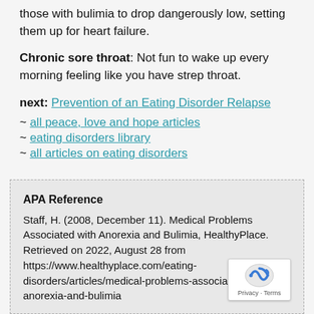those with bulimia to drop dangerously low, setting them up for heart failure.
Chronic sore throat: Not fun to wake up every morning feeling like you have strep throat.
next: Prevention of an Eating Disorder Relapse
~ all peace, love and hope articles
~ eating disorders library
~ all articles on eating disorders
APA Reference
Staff, H. (2008, December 11). Medical Problems Associated with Anorexia and Bulimia, HealthyPlace. Retrieved on 2022, August 28 from https://www.healthyplace.com/eating-disorders/articles/medical-problems-associated-with-anorexia-and-bulimia